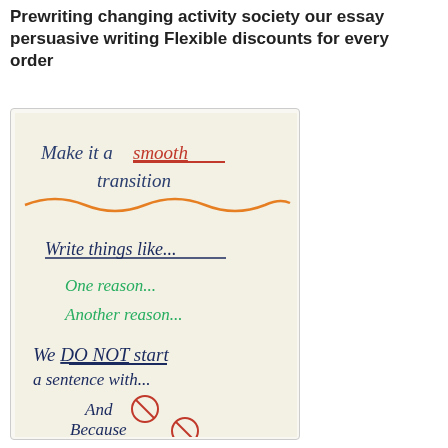Prewriting changing activity society our essay persuasive writing Flexible discounts for every order
[Figure (photo): Photo of a handwritten anchor chart on white paper showing writing transition tips. Text reads: 'Make it a smooth transition', 'Write things like...', 'One reason...', 'Another reason...', 'We DO NOT start a sentence with...', 'And [crossed out circle]', 'Because [crossed out circle]'. Uses blue, red/orange, and green marker colors with underlines and wavy lines as decorations.]